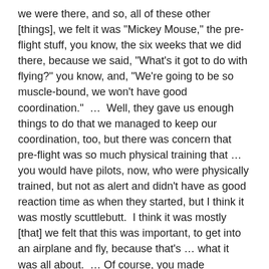we were there, and so, all of these other [things], we felt it was "Mickey Mouse," the pre-flight stuff, you know, the six weeks that we did there, because we said, "What's it got to do with flying?" you know, and, "We're going to be so muscle-bound, we won't have good coordination."  …  Well, they gave us enough things to do that we managed to keep our coordination, too, but there was concern that pre-flight was so much physical training that … you would have pilots, now, who were physically trained, but not as alert and didn't have as good reaction time as when they started, but I think it was mostly scuttlebutt.  I think it was mostly [that] we felt that this was important, to get into an airplane and fly, because that's … what it was all about.  … Of course, you made friendships, too, you know, and buddies, particularly in flight school.  I had a lot of buddies that I flew with that I knew from the time I started in pre-flight school.  They just went along with me, you know, all the way through, and stayed in the Marine Corps and so on, but a number of them are no longer around.
SI:  Why did you choose to become a Marine, as opposed